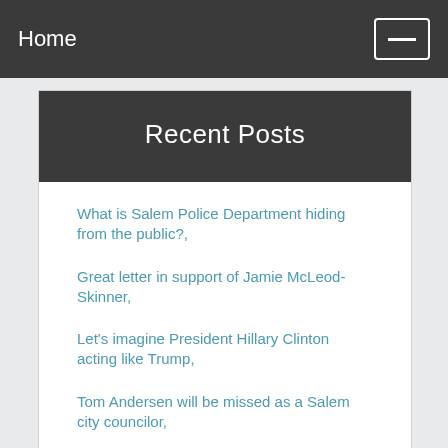Home
Recent Posts
What is Salem Police Department hiding from the public?,
Great letter in support of Jamie McLeod-Skinner,
Let's imagine President Hillary Clinton acting like Trump,
Tom Andersen will be missed as a Salem city councilor,
Eight cartoons about FBI raid on Trump's Florida home,
New plan for commercial air service at Salem airport sounds like old failed plans,
South Salem Office Depot kicks out farm stand and